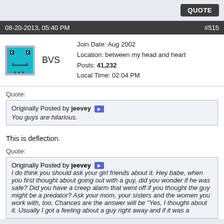QUOTE
08-20-2013, 05:40 PM   #515
BVS
Join Date: Aug 2002
Location: between my head and heart
Posts: 41,232
Local Time: 02:04 PM
Quote:
Originally Posted by jeevey
You guys are hilarious.
This is deflection.
Quote:
Originally Posted by jeevey
I do think you should ask your girl friends about it. Hey babe, when you first thought about going out with a guy, did you wonder if he was safe? Did you have a creep alarm that went off if you thought the guy might be a predator? Ask your mom, your sisters and the women you work with, too. Chances are the answer will be "Yes, I thought about it. Usually I got a feeling about a guy right away and if it was a